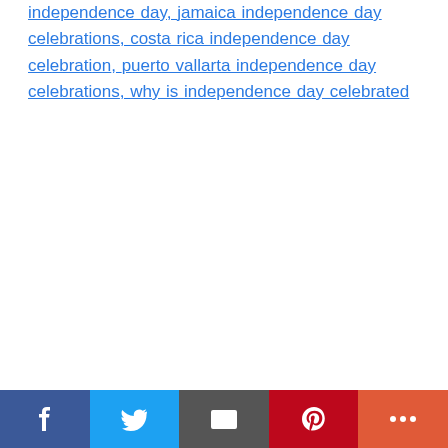independence day, jamaica independence day celebrations, costa rica independence day celebration, puerto vallarta independence day celebrations, why is independence day celebrated
Social share bar: Facebook, Twitter, Email, Pinterest, More